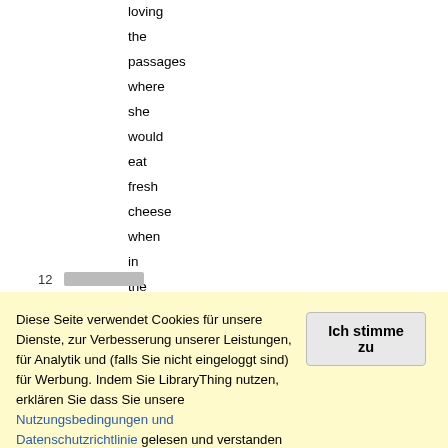loving
the
passages
where
she
would
eat
fresh
cheese
when
in
the
mountains.
Yum!
12
Diese Seite verwendet Cookies für unsere Dienste, zur Verbesserung unserer Leistungen, für Analytik und (falls Sie nicht eingeloggt sind) für Werbung. Indem Sie LibraryThing nutzen, erklären Sie dass Sie unsere Nutzungsbedingungen und Datenschutzrichtlinie gelesen und verstanden haben. Die Nutzung unserer Webseite und Dienste unterliegt diesen Richtlinien und Geschäftsbedingungen.